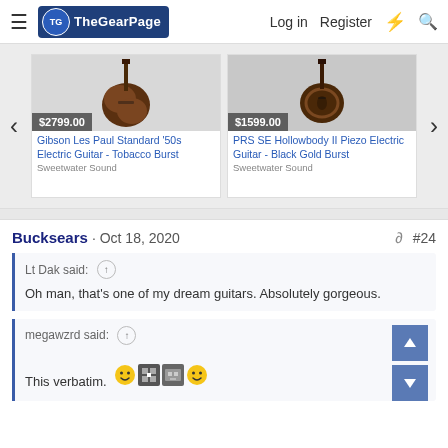The Gear Page — Log in  Register
[Figure (screenshot): Product listing cards: Gibson Les Paul Standard '50s Electric Guitar - Tobacco Burst at $2799.00 and PRS SE Hollowbody II Piezo Electric Guitar - Black Gold Burst at $1599.00, both from Sweetwater Sound]
Bucksears · Oct 18, 2020  #24
Lt Dak said: ↑

Oh man, that's one of my dream guitars. Absolutely gorgeous.
megawzrd said: ↑

This verbatim. 😊🎮🎮😊